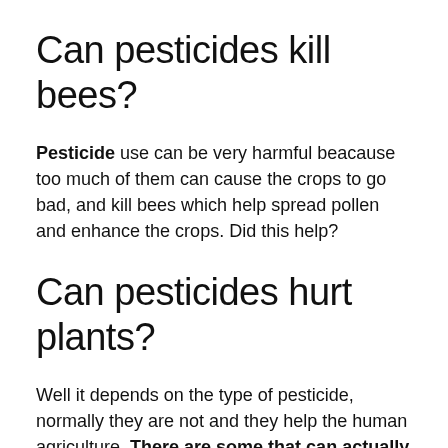Can pesticides kill bees?
Pesticide use can be very harmful beacause too much of them can cause the crops to go bad, and kill bees which help spread pollen and enhance the crops. Did this help?
Can pesticides hurt plants?
Well it depends on the type of pesticide, normally they are not and they help the human agriculture. There are some that can actually hurt a person, but not the